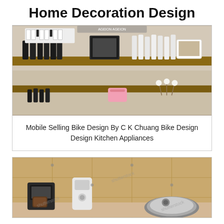Home Decoration Design
[Figure (photo): A retail display counter with wooden shelves showing skincare/beauty products including black bottles, white bottles, small cards, a pink wallet, cotton plants, and a framed sign. Trade show or store setup.]
Mobile Selling Bike Design By C K Chuang Bike Design Design Kitchen Appliances
[Figure (photo): Kitchen appliances on a counter including a coffee maker and a robot vacuum cleaner against a tiled wall background. Shutterstock watermark visible.]